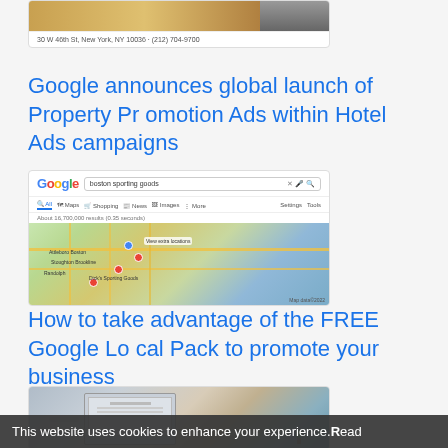[Figure (screenshot): Article card with hotel/restaurant image and address: 30 W 46th St, New York, NY 10036 · (212) 704-9700]
Google announces global launch of Property Promotion Ads within Hotel Ads campaigns
[Figure (screenshot): Google search results screenshot showing 'boston sporting goods' search with map results showing locations in the Boston area. About 16,700,000 results (0.35 seconds).]
How to take advantage of the FREE Google Local Pack to promote your business
[Figure (photo): Photo of a laptop on a desk with documents and a small plant, depicting a business/office setting]
This website uses cookies to enhance your experience. Read